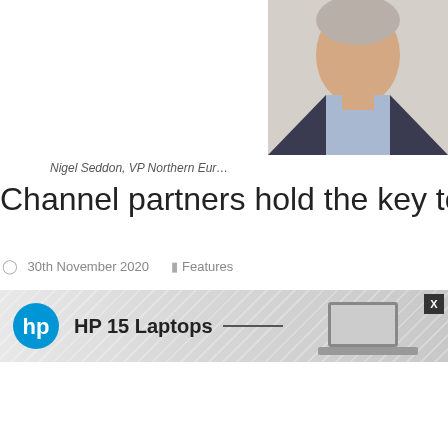[Figure (photo): Headshot of Nigel Seddon, a man in a dark suit and light blue shirt, cropped at top right of page]
Nigel Seddon, VP Northern Eur…
Channel partners hold the key to tr…
30th November 2020  Features
Nigel Seddon, VP Northern Europe, Ivanti explores the opportunities t… businesses and their staff.
It's fair to say that businesses in every sector have experienced a maj… nine months. With COVID-19 showing no signs of abating as we hea… existing infrastructures and technologies to ensure business continuity…
[Figure (advertisement): HP 15 Laptops advertisement banner with HP logo, diagonal striped background, and laptop image]